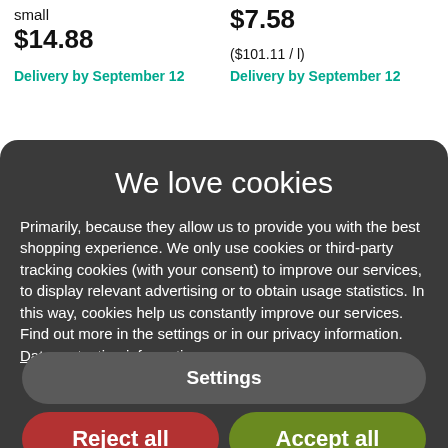small
$14.88
Delivery by September 12
$7.58
($101.11 / l)
Delivery by September 12
We love cookies
Primarily, because they allow us to provide you with the best shopping experience. We only use cookies or third-party tracking cookies (with your consent) to improve our services, to display relevant advertising or to obtain usage statistics. In this way, cookies help us constantly improve our services. Find out more in the settings or in our privacy information.
Data protection information